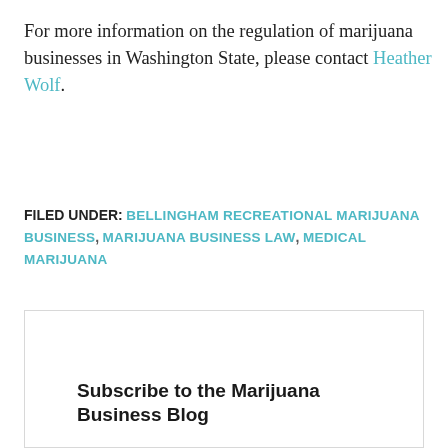For more information on the regulation of marijuana businesses in Washington State, please contact Heather Wolf.
FILED UNDER: BELLINGHAM RECREATIONAL MARIJUANA BUSINESS, MARIJUANA BUSINESS LAW, MEDICAL MARIJUANA
Subscribe to the Marijuana Business Blog
Your email address